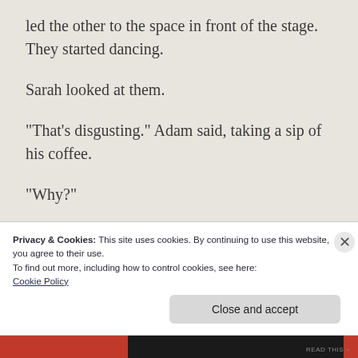led the other to the space in front of the stage. They started dancing.
Sarah looked at them.
“That’s disgusting.” Adam said, taking a sip of his coffee.
“Why?”
“Two men shouldn’t be together. Its
Privacy & Cookies: This site uses cookies. By continuing to use this website, you agree to their use.
To find out more, including how to control cookies, see here:
Cookie Policy
Close and accept